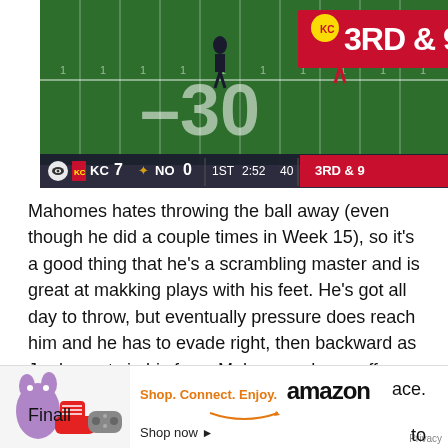[Figure (screenshot): NFL broadcast screenshot showing Kansas City Chiefs vs New Orleans Saints, KC 7 - NO 0, 1st quarter 2:52 40, 3RD & 9. Players visible on football field with yard markers.]
Mahomes hates throwing the ball away (even though he did a couple times in Week 15), so it's a good thing that he's a scrambling master and is great at makking plays with his feet. He's got all day to throw, but eventually pressure does reach him and he has to evade right, then backward as Jordan gets in his face. Mahomes shows off some of his basktetball skills, stopping on a dime and crossi
[Figure (screenshot): Amazon advertisement: Shop. Connect. Enjoy. amazon Shop now. With product images including shoes and electronics. Privacy label.]
ace. Finall